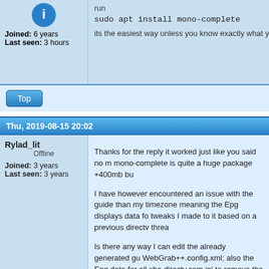run
sudo apt install mono-complete
its the easiest way unless you know exactly what yo
Top
Thu, 2019-08-15 20:02
Rylad_lit
Offline
Joined: 3 years
Last seen: 3 years
Thanks for the reply it worked just like you said no m mono-complete is quite a huge package +400mb bu

I have however encountered an issue with the guide than my timezone meaning the Epg displays data fo tweaks I made to it based on a previous directv threa

Is there any way I can edit the already generated gu WebGrab++.config.xml; also the Epg data for all sho directv.com.ini to remove the "Watch" and "Online" fr

As always your continued help, patience and dedica appreciated below are my directv.com.ini, a sample W

Thank You!